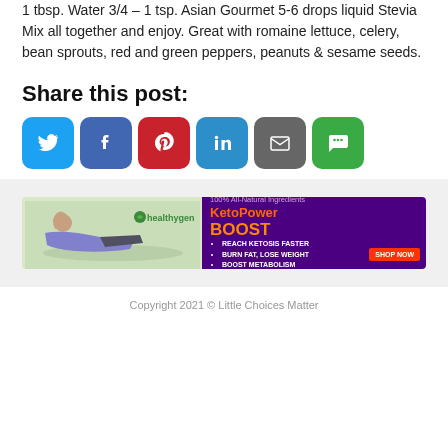1 tbsp. Water 3/4 – 1 tsp. Asian Gourmet 5-6 drops liquid Stevia Mix all together and enjoy. Great with romaine lettuce, celery, bean sprouts, red and green peppers, peanuts & sesame seeds.
Share this post:
[Figure (infographic): Six social sharing buttons: Twitter (blue), Facebook (dark blue), Pinterest (red), LinkedIn (light blue), Email (grey), SMS (green)]
[Figure (infographic): Advertisement banner for HealthyGen KetonPower Boost supplement. Left side shows a woman exercising on a mat with HealthyGen logo. Right side on purple background shows product bottles with text: 100% All-Natural Ingredients, REACH KETOSIS FASTER, BURN FAT LOSE WEIGHT, BOOST METABOLISM, and a SHOP NOW button.]
Copyright 2021 © Little Choices Matter